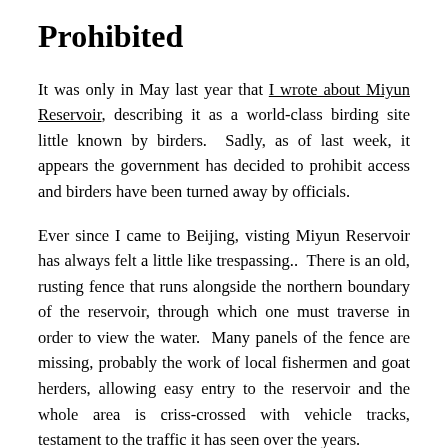Prohibited
It was only in May last year that I wrote about Miyun Reservoir, describing it as a world-class birding site little known by birders. Sadly, as of last week, it appears the government has decided to prohibit access and birders have been turned away by officials.
Ever since I came to Beijing, visting Miyun Reservoir has always felt a little like trespassing.. There is an old, rusting fence that runs alongside the northern boundary of the reservoir, through which one must traverse in order to view the water. Many panels of the fence are missing, probably the work of local fishermen and goat herders, allowing easy entry to the reservoir and the whole area is criss-crossed with vehicle tracks, testament to the traffic it has seen over the years.